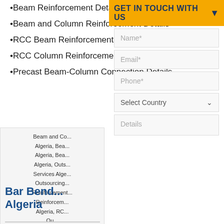Beam Reinforcement Detailing Drawings
Beam and Column Reinforcement Details
RCC Beam Reinforcement Details
RCC Column Reinforcement Details
Precast Beam-Column Connection Details
Beam and Co...
Algeria, Bea...
Algeria, Bea...
Algeria, Outs...
Services Alge...
Outsourcing...
Reinforcement...
Reinforcem...
Algeria, RC...
Ou...
Bar Bend...
Algeria
GET IN TOUCH WITH US
Name*
Email*
Phone*
Select Country
Details